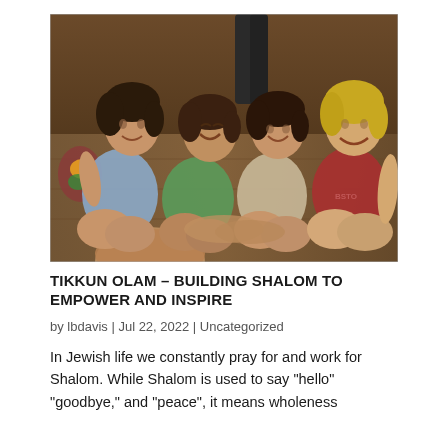[Figure (photo): Four smiling young women sitting together on a floor, leaning in close to each other. One wears a blue tank top, one a green t-shirt, one a light top, and one a red t-shirt with 'BOSTO' partially visible. Background shows a wooden floor and a person standing behind them.]
TIKKUN OLAM – BUILDING SHALOM TO EMPOWER AND INSPIRE
by lbdavis | Jul 22, 2022 | Uncategorized
In Jewish life we constantly pray for and work for Shalom. While Shalom is used to say "hello" "goodbye," and "peace", it means wholeness